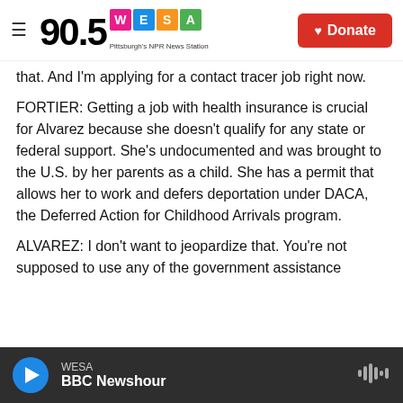90.5 WESA Pittsburgh's NPR News Station | Donate
that. And I'm applying for a contact tracer job right now.
FORTIER: Getting a job with health insurance is crucial for Alvarez because she doesn't qualify for any state or federal support. She's undocumented and was brought to the U.S. by her parents as a child. She has a permit that allows her to work and defers deportation under DACA, the Deferred Action for Childhood Arrivals program.
ALVAREZ: I don't want to jeopardize that. You're not supposed to use any of the government assistance
WESA | BBC Newshour